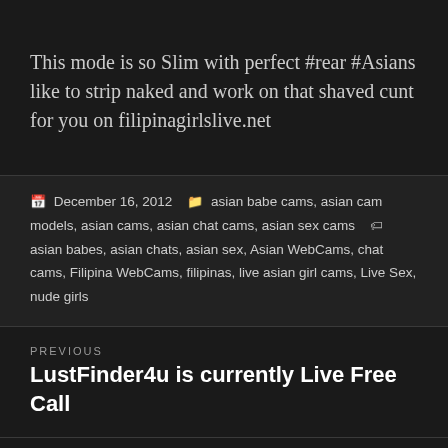This mode is so Slim with perfect #rear #Asians like to strip naked and work on that shaved cunt for you on filipinagirlslive.net
December 16, 2012  asian babe cams, asian cam models, asian cams, asian chat cams, asian sex cams  asian babes, asian chats, asian sex, Asian WebCams, chat cams, Filipina WebCams, filipinas, live asian girl cams, Live Sex, nude girls
PREVIOUS
LustFinder4u is currently Live Free Call
NEXT
Loads of Love juice in her ass – this Passionate #Asian American live Live cams lady massages her huge tits and fingers her...